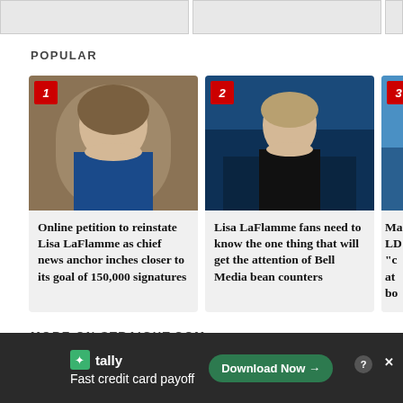[Figure (photo): Top strip of three partially visible image thumbnails]
POPULAR
[Figure (photo): Photo of an older woman with white/grey hair in a blue jacket, numbered 1]
Online petition to reinstate Lisa LaFlamme as chief news anchor inches closer to its goal of 150,000 signatures
[Figure (photo): Photo of Lisa LaFlamme standing in front of a TV studio set, numbered 2]
Lisa LaFlamme fans need to know the one thing that will get the attention of Bell Media bean counters
[Figure (photo): Partial photo of person numbered 3]
Ma LDO "c at bo
MORE ON STRAIGHT.COM
[Figure (screenshot): Advertisement banner: Tally - Fast credit card payoff with Download Now button]